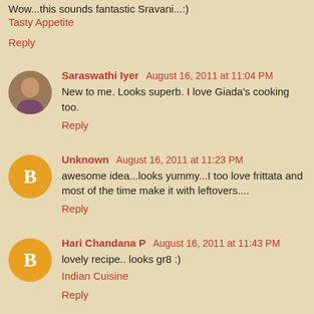Wow...this sounds fantastic Sravani...:)
Tasty Appetite
Reply
Saraswathi Iyer  August 16, 2011 at 11:04 PM
New to me. Looks superb. I love Giada's cooking too.
Reply
Unknown  August 16, 2011 at 11:23 PM
awesome idea...looks yummy...I too love frittata and most of the time make it with leftovers....
Reply
Hari Chandana P  August 16, 2011 at 11:43 PM
lovely recipe.. looks gr8 :)
Indian Cuisine
Reply